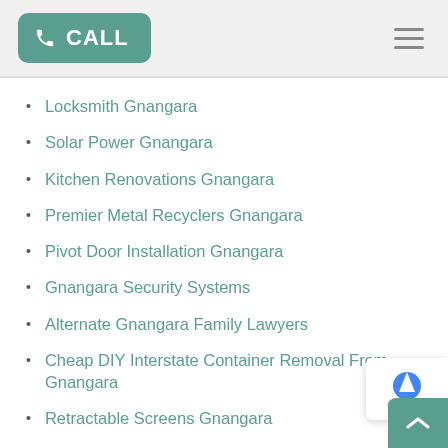CALL
Locksmith Gnangara
Solar Power Gnangara
Kitchen Renovations Gnangara
Premier Metal Recyclers Gnangara
Pivot Door Installation Gnangara
Gnangara Security Systems
Alternate Gnangara Family Lawyers
Cheap DIY Interstate Container Removal From Gnangara
Retractable Screens Gnangara
Our Multi Discipline Team Can Also Assist With